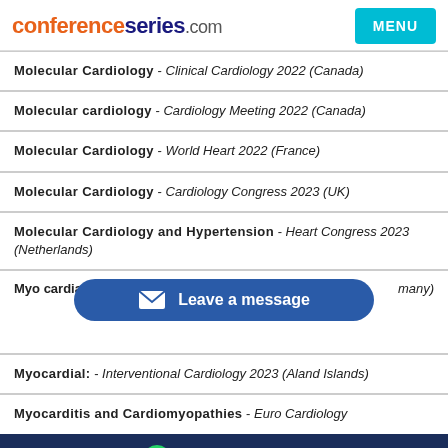conferenceseries.com | MENU
Molecular Cardiology - Clinical Cardiology 2022 (Canada)
Molecular cardiology - Cardiology Meeting 2022 (Canada)
Molecular Cardiology - World Heart 2022 (France)
Molecular Cardiology - Cardiology Congress 2023 (UK)
Molecular Cardiology and Hypertension - Heart Congress 2023 (Netherlands)
Myo[cardial...] - [...] (Germany)
Myocardial: - Interventional Cardiology 2023 (Aland Islands)
Myocarditis and Cardiomyopathies - Euro Cardiology
+442039369064
Maternal Health and Child Birth - Midwifery 2022 (Sweden)